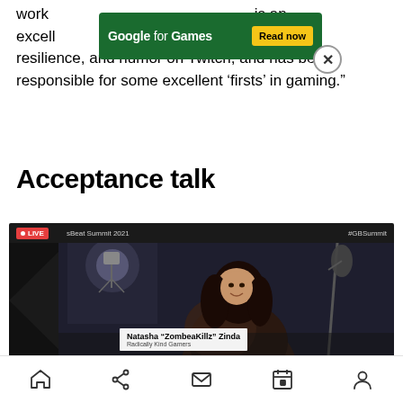work … is an excellent … nce, resilience, and humor on Twitch, and has been responsible for some excellent ‘firsts’ in gaming.”
[Figure (screenshot): Google for Games advertisement banner with green background, 'Google for Games' text, and yellow 'Read now' button, with a circular close (X) button]
Acceptance talk
[Figure (screenshot): Live video stream screenshot from GamesBeat Summit 2021 showing Natasha 'ZombeaKillz' Zinda from Radically Kind Gamers. LIVE badge in top left, #GBSummit hashtag in top right. Woman with dark hair in leopard print top seated in studio with microphone visible.]
Navigation bar with home, share, email, calendar, and profile icons